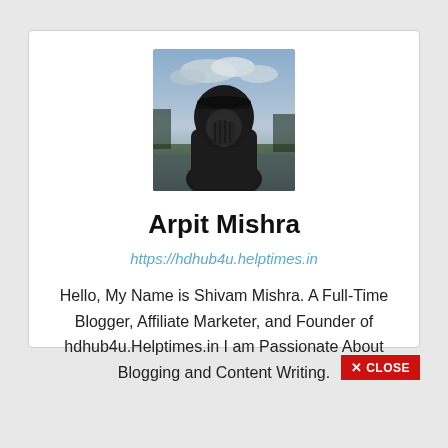[Figure (photo): Profile photo of a person wearing a dark hoodie with cap, face partially covered, outdoors with cloudy sky background]
Arpit Mishra
https://hdhub4u.helptimes.in
Hello, My Name is Shivam Mishra. A Full-Time Blogger, Affiliate Marketer, and Founder of hdhub4u.Helptimes.in I am Passionate About Blogging and Content Writing.